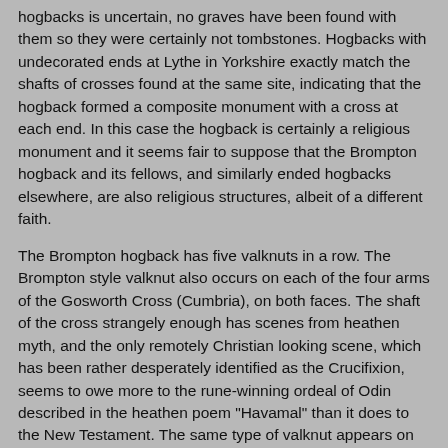hogbacks is uncertain, no graves have been found with them so they were certainly not tombstones. Hogbacks with undecorated ends at Lythe in Yorkshire exactly match the shafts of crosses found at the same site, indicating that the hogback formed a composite monument with a cross at each end. In this case the hogback is certainly a religious monument and it seems fair to suppose that the Brompton hogback and its fellows, and similarly ended hogbacks elsewhere, are also religious structures, albeit of a different faith.
The Brompton hogback has five valknuts in a row. The Brompton style valknut also occurs on each of the four arms of the Gosworth Cross (Cumbria), on both faces. The shaft of the cross strangely enough has scenes from heathen myth, and the only remotely Christian looking scene, which has been rather desperately identified as the Crucifixion, seems to owe more to the rune-winning ordeal of Odin described in the heathen poem "Havamal" than it does to the New Testament. The same type of valknut appears on the shafts of crosses at Sockburn (Co Durham), Lastingham, Hawsker and Brompton (all North Yorks). On the last, three of these valknuts are arranged in a triangular pattern.
A fourth type of valknut, rather different from those described so far, occurs on a stone cross from Andreas on the Isle of Man and is now in the Manx Museum, Douglas. This version is basically a simple